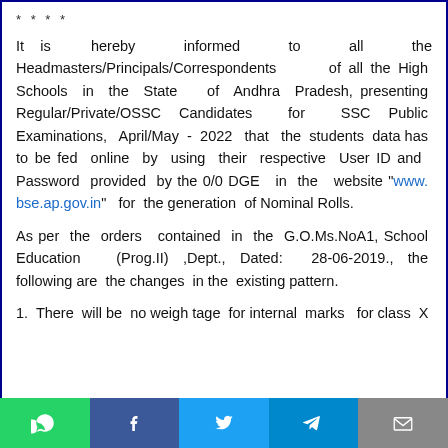* * * *
It is hereby informed to all the Headmasters/Principals/Correspondents of all the High Schools in the State of Andhra Pradesh, presenting Regular/Private/OSSC Candidates for SSC Public Examinations, April/May - 2022 that the students data has to be fed online by using their respective User ID and Password provided by the 0/0 DGE in the website "www. bse.ap.gov.in" for the generation of Nominal Rolls.
As per the orders contained in the G.O.Ms.NoA1, School Education (Prog.II) ,Dept., Dated: 28-06-2019., the following are the changes in the existing pattern.
1.  There will be  no weigh tage  for internal marks  for class  X